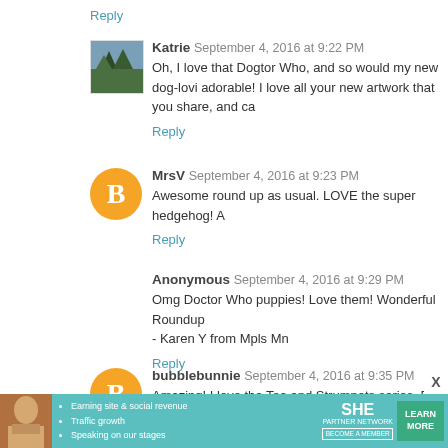Reply
Katrie  September 4, 2016 at 9:22 PM
Oh, I love that Dogtor Who, and so would my new dog-loving adorable! I love all your new artwork that you share, and ca
Reply
MrsV  September 4, 2016 at 9:23 PM
Awesome round up as usual. LOVE the super hedgehog! A
Reply
Anonymous  September 4, 2016 at 9:29 PM
Omg Doctor Who puppies! Love them! Wonderful Roundup
- Karen Y from Mpls Mn
Reply
bubblebunnie  September 4, 2016 at 9:35 PM
Amazing! I love the Tea and Strumpets series. But the
[Figure (infographic): SHE Partner Network advertisement banner with photo of woman, bullet points about earning site & social revenue, traffic growth, speaking on stages, SHE logo, and LEARN MORE button]